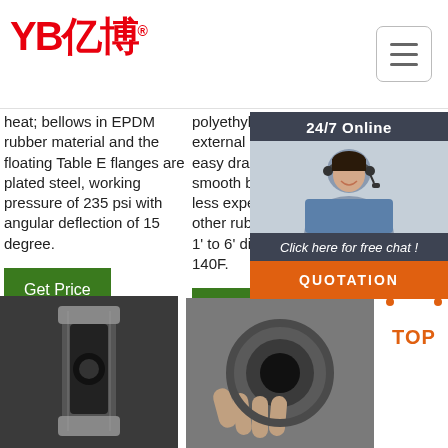[Figure (logo): YB亿博 logo in red with registered trademark symbol]
heat; bellows in EPDM rubber material and the floating Table E flanges are plated steel, working pressure of 235 psi with angular deflection of 15 degree.
polyethylene helix. The external helix provides for easy drag, and it allows a smooth bore. It is also a less expensive than some other rubber suction hoses. 1' to 6' diameters. -30F to 140F.
Non-Marking NBR Hos
[Figure (photo): Customer service representative with headset, 24/7 Online chat widget with QUOTATION button]
[Figure (photo): Close-up of black rubber hose fitting/coupling]
[Figure (photo): Person holding a rubber hose, showing the end opening]
[Figure (other): TOP navigation icon with orange dots and text]